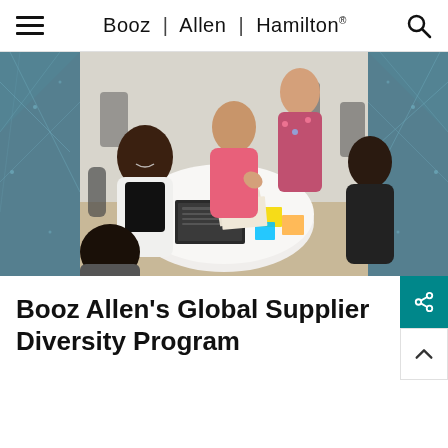Booz | Allen | Hamilton®
[Figure (photo): Group of diverse women sitting and standing around a round white table in a modern office, collaborating with laptop and sticky notes. Some are smiling and talking. The background has a geometric teal network pattern overlay on the sides.]
Booz Allen’s Global Supplier Diversity Program